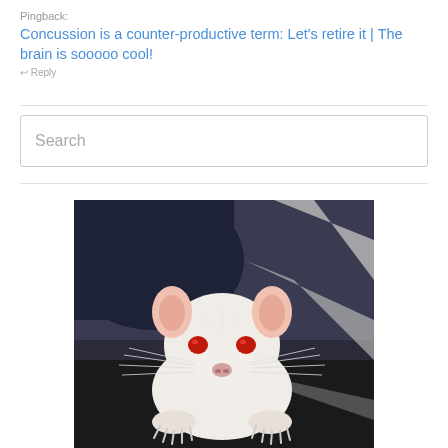Pingback: Concussion is a counter-productive term: Let's retire it | The brain is sooooo cool!
[Figure (photo): A white albino rat with red eyes looking directly at the camera, photographed close-up on a dark surface with a dark blue/grey background.]